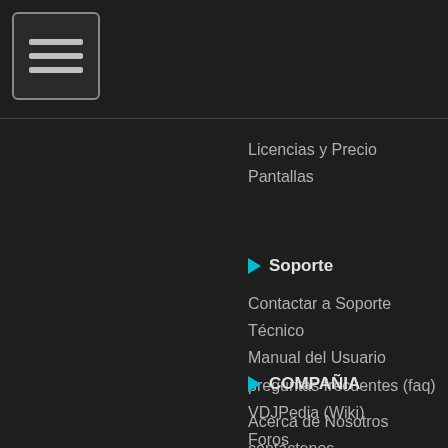[Figure (other): Hamburger menu icon: three horizontal lines inside a rounded rectangle border]
Licencias y Precio
Pantallas
Soporte
Contactar a Soporte Técnico
Manual del Usuario
preguntas frecuentes (faq)
VDJPedia (Wiki)
Foros
COMPAÑIA
Acerca de Nosotros
contáctenos